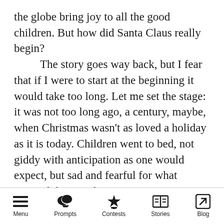the globe bring joy to all the good children. But how did Santa Claus really begin?

The story goes way back, but I fear that if I were to start at the beginning it would take too long. Let me set the stage: it was not too long ago, a century, maybe, when Christmas wasn't as loved a holiday as it is today. Children went to bed, not giddy with anticipation as one would expect, but sad and fearful for what awaited them in the morning. For every year on Christmas Eve, Not-So-Saint Nick would make his way around the world in a black sleigh pulled by mules (A species of animal just as disagreeable as him) and would steal all the toys, treats, and
Menu   Prompts   Contests   Stories   Blog